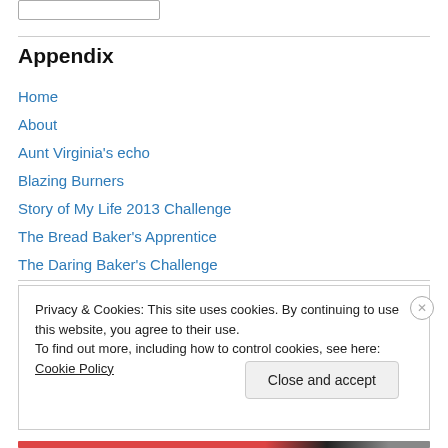Appendix
Home
About
Aunt Virginia's echo
Blazing Burners
Story of My Life 2013 Challenge
The Bread Baker's Apprentice
The Daring Baker's Challenge
Privacy & Cookies: This site uses cookies. By continuing to use this website, you agree to their use.
To find out more, including how to control cookies, see here: Cookie Policy